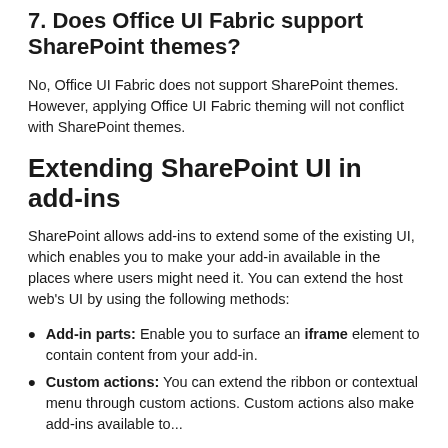7. Does Office UI Fabric support SharePoint themes?
No, Office UI Fabric does not support SharePoint themes. However, applying Office UI Fabric theming will not conflict with SharePoint themes.
Extending SharePoint UI in add-ins
SharePoint allows add-ins to extend some of the existing UI, which enables you to make your add-in available in the places where users might need it. You can extend the host web's UI by using the following methods:
Add-in parts: Enable you to surface an iframe element to contain content from your add-in.
Custom actions: You can extend the ribbon or contextual menu through custom actions. Custom actions also make add-ins available to...